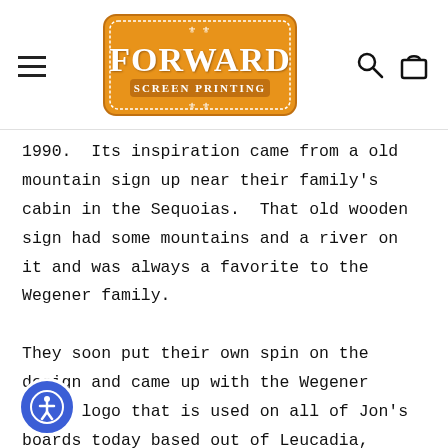Forward Screen Printing — navigation header with logo, hamburger menu, search and bag icons
1990.  Its inspiration came from a old mountain sign up near their family's cabin in the Sequoias.  That old wooden sign had some mountains and a river on it and was always a favorite to the Wegener family.
They soon put their own spin on the design and came up with the Wegener board logo that is used on all of Jon's boards today based out of Leucadia, California, as well as his brother Tom's boards based out of Noosa Heads ia.     Jon is one of the most diverse shapers alive today and can build beautiful